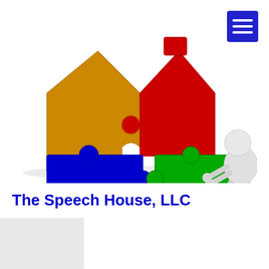[Figure (illustration): A 3D illustration of a house made of colorful puzzle pieces (orange/gold for left roof/wall, red for right roof/wall, blue for lower-left piece, green for lower-right piece), with a white 3D cartoon figure pushing the green puzzle piece into place.]
[Figure (other): Blue square button with three white horizontal lines (hamburger/menu icon) in the top-right corner.]
The Speech House, LLC
[Figure (other): Light gray rectangle in the bottom-left corner.]